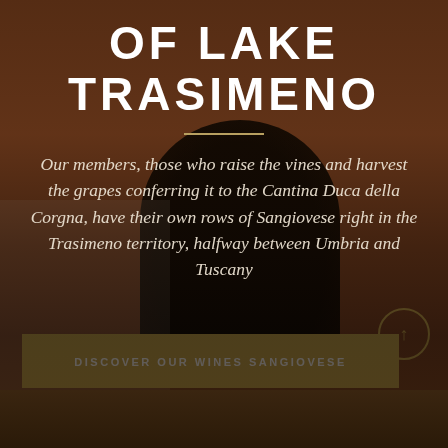OF LAKE TRASIMENO
Our members, those who raise the vines and harvest the grapes conferring it to the Cantina Duca della Corgna, have their own rows of Sangiovese right in the Trasimeno territory, halfway between Umbria and Tuscany
DISCOVER OUR WINES SANGIOVESE
Whatsapp